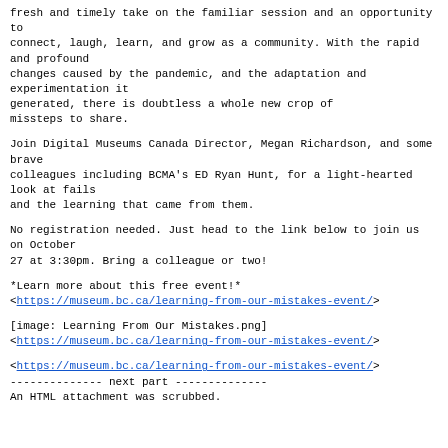fresh and timely take on the familiar session and an opportunity to
connect, laugh, learn, and grow as a community. With the rapid and profound
changes caused by the pandemic, and the adaptation and experimentation it
generated, there is doubtless a whole new crop of missteps to share.
Join Digital Museums Canada Director, Megan Richardson, and some brave
colleagues including BCMA's ED Ryan Hunt, for a light-hearted look at fails
and the learning that came from them.
No registration needed. Just head to the link below to join us on October
27 at 3:30pm. Bring a colleague or two!
*Learn more about this free event!*
<https://museum.bc.ca/learning-from-our-mistakes-event/>
[image: Learning From Our Mistakes.png]
<https://museum.bc.ca/learning-from-our-mistakes-event/>
<https://museum.bc.ca/learning-from-our-mistakes-event/>
-------------- next part --------------
An HTML attachment was scrubbed.